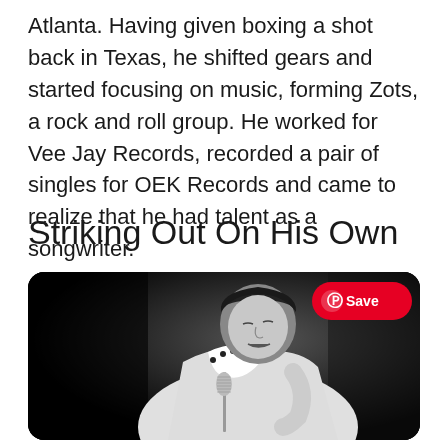Atlanta. Having given boxing a shot back in Texas, he shifted gears and started focusing on music, forming Zots, a rock and roll group. He worked for Vee Jay Records, recorded a pair of singles for OEK Records and came to realize that he had talent as a songwriter.
Striking Out On His Own
[Figure (photo): Black and white photograph of a male performer in a white jumpsuit with dark jeweled details, leaning over a microphone stand while singing. The background is dark/black. A Pinterest 'Save' button is overlaid in the top right corner of the image.]